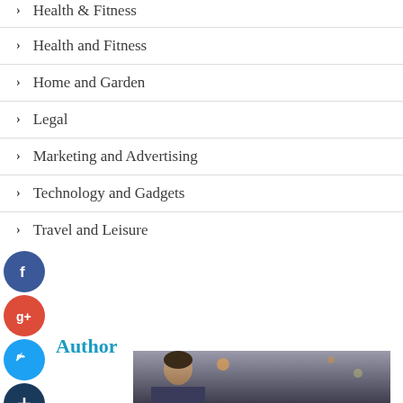Health & Fitness
Health and Fitness
Home and Garden
Legal
Marketing and Advertising
Technology and Gadgets
Travel and Leisure
Author
[Figure (photo): Author profile photo showing a person indoors with bokeh lights in background]